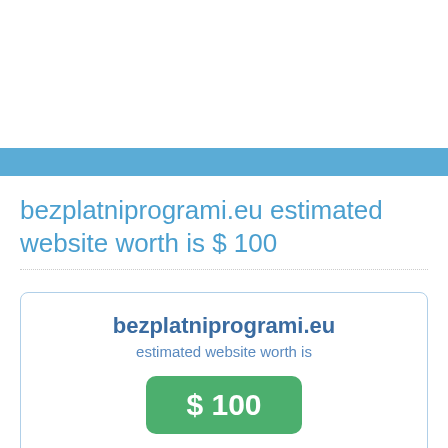bezplatniprogrami.eu estimated website worth is $ 100
[Figure (infographic): Website valuation card showing bezplatniprogrami.eu with estimated website worth of $100, displayed in a bordered card with a green badge and a gold medal seal at the bottom]